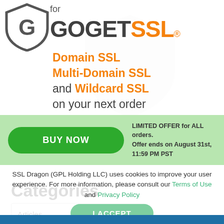[Figure (logo): GoGetSSL logo: circular shield icon with G lettermark on left, text 'for GOGETSSL®' on right with GOGET in dark gray and SSL in orange]
Domain SSL
Multi-Domain SSL
and Wildcard SSL
on your next order
BUY NOW
LIMITED OFFER for ALL orders.
Offer ends on August 31st, 11:59 PM PST
Categories
SSL Dragon (GPL Holding LLC) uses cookies to improve your user experience. For more information, please consult our Terms of Use and Privacy Policy
Articles
I ACCEPT